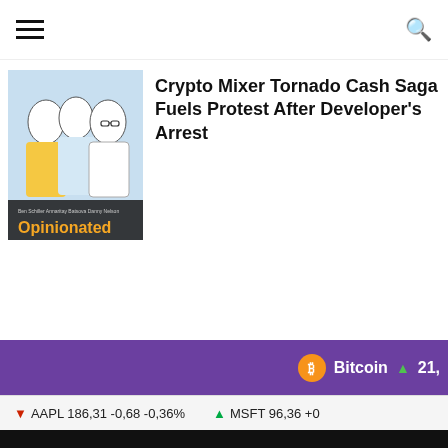[Figure (illustration): Opinionated podcast thumbnail showing illustrated figures with yellow and blue colors, text 'Opinionated' in orange at bottom]
Crypto Mixer Tornado Cash Saga Fuels Protest After Developer's Arrest
[Figure (infographic): Purple ticker bar showing Bitcoin price with orange Bitcoin icon and green up arrow: Bitcoin ▲ 21,]
[Figure (infographic): Stock ticker bar: ▼ AAPL 186,31 -0,68 -0,36%   ▲ MSFT 96,36 +0]
Home   About   Disclaimer   Privacy Policy   Terms of Service   Contact
@2022 - Marketcap.com || All Right Reserved.